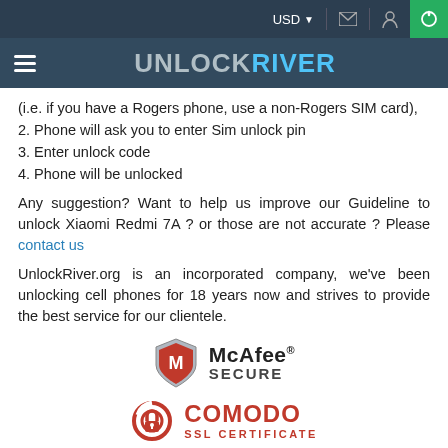USD | [mail icon] [location icon] [power icon]
UNLOCKRIVER
(i.e. if you have a Rogers phone, use a non-Rogers SIM card),
2. Phone will ask you to enter Sim unlock pin
3. Enter unlock code
4. Phone will be unlocked
Any suggestion? Want to help us improve our Guideline to unlock Xiaomi Redmi 7A ? or those are not accurate ? Please contact us
UnlockRiver.org is an incorporated company, we've been unlocking cell phones for 18 years now and strives to provide the best service for our clientele.
[Figure (logo): McAfee SECURE badge with red shield logo]
[Figure (logo): Comodo SSL Certificate badge with red lock icon]